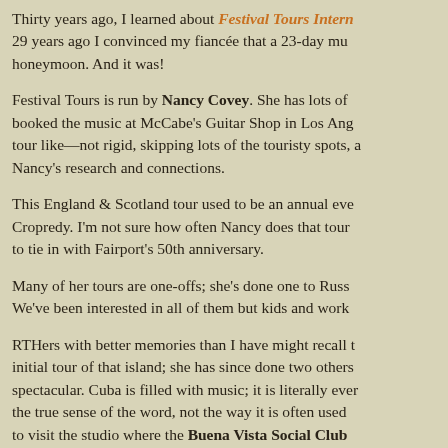Thirty years ago, I learned about Festival Tours Intern… 29 years ago I convinced my fiancée that a 23-day mu… honeymoon. And it was!
Festival Tours is run by Nancy Covey. She has lots of… booked the music at McCabe's Guitar Shop in Los Ang… tour like—not rigid, skipping lots of the touristy spots, a… Nancy's research and connections.
This England & Scotland tour used to be an annual eve… Cropredy. I'm not sure how often Nancy does that tour… to tie in with Fairport's 50th anniversary.
Many of her tours are one-offs; she's done one to Russ… We've been interested in all of them but kids and work…
RTHers with better memories than I have might recall t… initial tour of that island; she has since done two others… spectacular. Cuba is filled with music; it is literally ever… the true sense of the word, not the way it is often used… to visit the studio where the Buena Vista Social Club… those sessions (not the big names—I believe they hav… made possible because Nancy knows Jackson Brow…